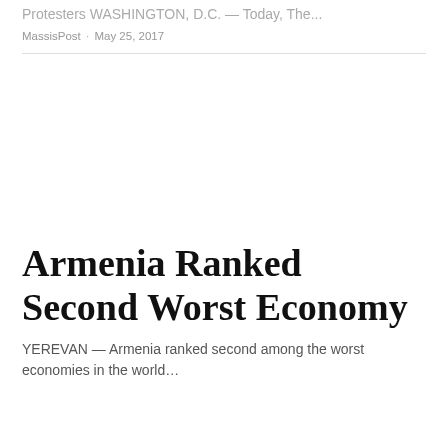Protesters WASHINGTON, D.C. — Today, The...
MassisPost · May 25, 2017
Armenia Ranked Second Worst Economy
YEREVAN — Armenia ranked second among the worst economies in the world…